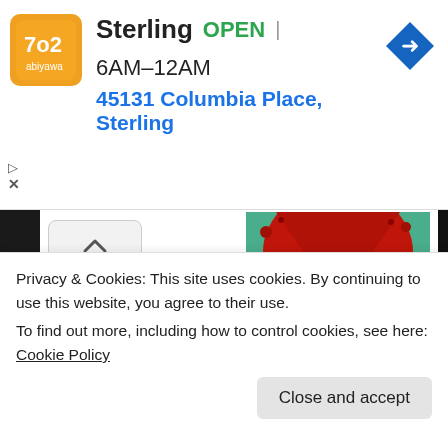[Figure (screenshot): Ad banner for Sterling gas station: orange logo, business name, OPEN status, hours 6AM-12AM, address 45131 Columbia Place Sterling, navigation arrow icon, play and close controls]
[Figure (photo): Movie poster for Dude Bro Party Massacre III — muscular figure with explosion of red above, teal/yellow/red color scheme, title text in yellow and red]
13th Annual Oxford Film
Privacy & Cookies: This site uses cookies. By continuing to use this website, you agree to their use.
To find out more, including how to control cookies, see here: Cookie Policy
Close and accept